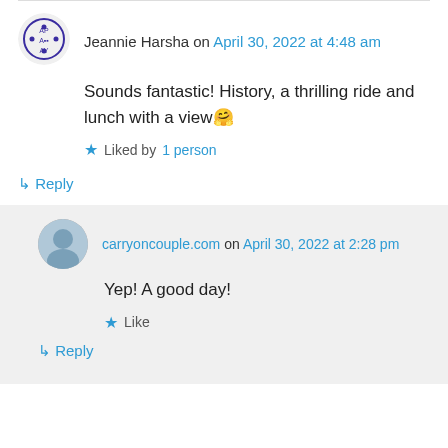Jeannie Harsha on April 30, 2022 at 4:48 am
Sounds fantastic! History, a thrilling ride and lunch with a view🤗
Liked by 1 person
↳ Reply
carryoncouple.com on April 30, 2022 at 2:28 pm
Yep! A good day!
Like
↳ Reply